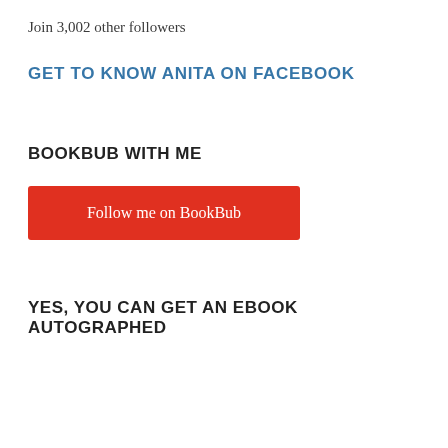Join 3,002 other followers
GET TO KNOW ANITA ON FACEBOOK
BOOKBUB WITH ME
Follow me on BookBub
YES, YOU CAN GET AN EBOOK AUTOGRAPHED
Privacy & Cookies: This site uses cookies. By continuing to use this website, you agree to their use.
To find out more, including how to control cookies, see here: Cookie Policy
Close and accept